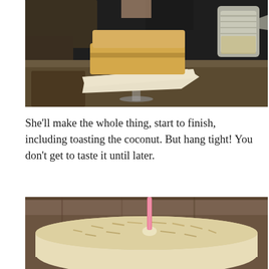[Figure (photo): A layered cake on a glass cake stand with parchment paper, in a kitchen setting. A measuring cup is visible in the upper right background.]
She'll make the whole thing, start to finish, including toasting the coconut. But hang tight! You don't get to taste it until later.
[Figure (photo): A round coconut cake covered in toasted coconut flakes with a single pink candle on top, sitting on a wooden surface.]